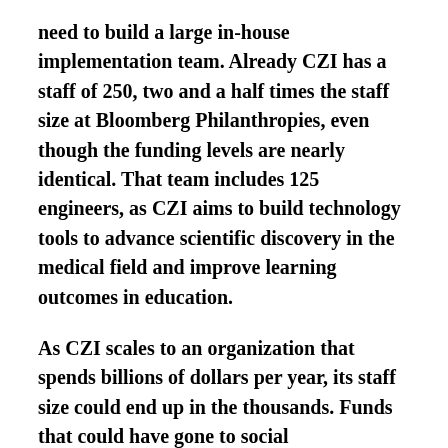need to build a large in-house implementation team. Already CZI has a staff of 250, two and a half times the staff size at Bloomberg Philanthropies, even though the funding levels are nearly identical. That team includes 125 engineers, as CZI aims to build technology tools to advance scientific discovery in the medical field and improve learning outcomes in education.
As CZI scales to an organization that spends billions of dollars per year, its staff size could end up in the thousands. Funds that could have gone to social entrepreneurs and NGOs competing against each other to present the best ideas and results may instead end up building a massive institution that faces no competitive pressures and can't easily be